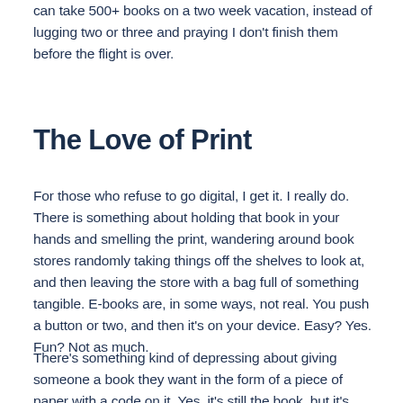can take 500+ books on a two week vacation, instead of lugging two or three and praying I don't finish them before the flight is over.
The Love of Print
For those who refuse to go digital, I get it. I really do. There is something about holding that book in your hands and smelling the print, wandering around book stores randomly taking things off the shelves to look at, and then leaving the store with a bag full of something tangible. E-books are, in some ways, not real. You push a button or two, and then it's on your device. Easy? Yes. Fun? Not as much.
There's something kind of depressing about giving someone a book they want in the form of a piece of paper with a code on it. Yes, it's still the book, but it's such a let-